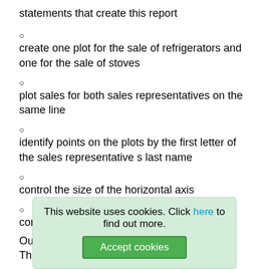statements that create this report
create one plot for the sale of refrigerators and one for the sale of stoves
plot sales for both sales representatives on the same line
identify points on the plots by the first letter of the sales representative s last name
control the size of the horizontal axis
control formats and labels.
Ou...
Th...